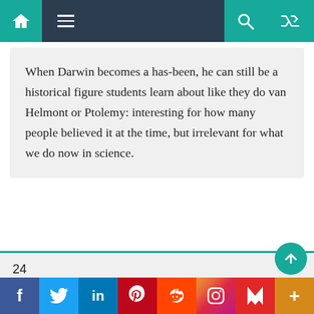Navigation bar with home, menu, search, and shuffle icons
When Darwin becomes a has-been, he can still be a historical figure students learn about like they do van Helmont or Ptolemy: interesting for how many people believed it at the time, but irrelevant for what we do now in science.
24
Neil Rickert
kairosfocus (#21)
January 15, 2011 at 6:55 pm
In short, you have plainly closed your mind to evidence that shows an actual concrete case of irreducible
Social share bar: Facebook, Twitter, LinkedIn, Pinterest, Reddit, Instagram, Flipboard, More